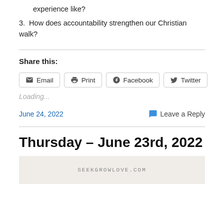experience like?
3. How does accountability strengthen our Christian walk?
Share this:
Email  Print  Facebook  Twitter
Loading...
June 24, 2022    Leave a Reply
Thursday – June 23rd, 2022
[Figure (photo): Bottom banner image with seekgrowlove.com watermark text]